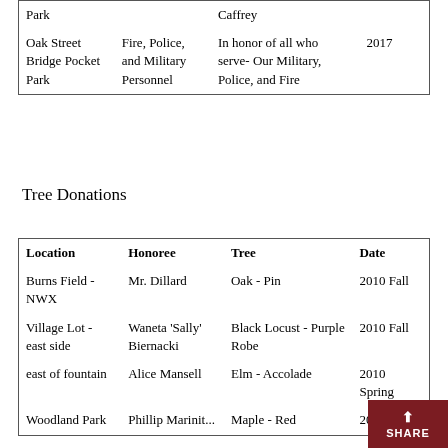| Park |  | Caffrey |  |
| Oak Street Bridge Pocket Park | Fire, Police, and Military Personnel | In honor of all who serve- Our Military, Police, and Fire | 2017 |
Tree Donations
| Location | Honoree | Tree | Date |
| --- | --- | --- | --- |
| Burns Field - NWX | Mr. Dillard | Oak - Pin | 2010 Fall |
| Village Lot - east side | Waneta 'Sally' Biernacki | Black Locust - Purple Robe | 2010 Fall |
| east of fountain | Alice Mansell | Elm - Accolade | 2010 Spring |
| Woodland Park | Phillip Marinit... | Maple - Red | 201... |